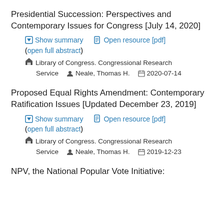Presidential Succession: Perspectives and Contemporary Issues for Congress [July 14, 2020]
Show summary | Open resource [pdf] | (open full abstract)
Library of Congress. Congressional Research Service   Neale, Thomas H.   2020-07-14
Proposed Equal Rights Amendment: Contemporary Ratification Issues [Updated December 23, 2019]
Show summary | Open resource [pdf] | (open full abstract)
Library of Congress. Congressional Research Service   Neale, Thomas H.   2019-12-23
NPV, the National Popular Vote Initiative: